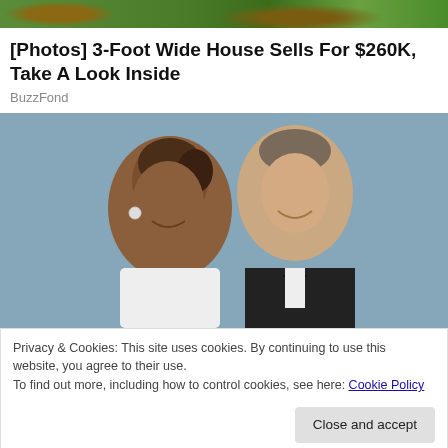[Figure (photo): Top partial image showing a house exterior with grass and a path]
[Photos] 3-Foot Wide House Sells For $260K, Take A Look Inside
BuzzFond
[Figure (photo): Photo of a couple leaning heads together and smiling, man in tuxedo with bow tie, woman in white dress with earrings]
Privacy & Cookies: This site uses cookies. By continuing to use this website, you agree to their use.
To find out more, including how to control cookies, see here: Cookie Policy
After Retired, Take A Look Inside